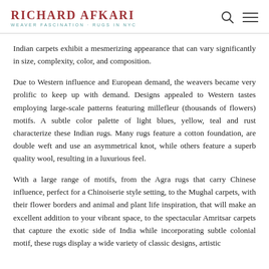RICHARD AFKARI | WEAVER FASCINATION · RUGS IN NYC
Indian carpets exhibit a mesmerizing appearance that can vary significantly in size, complexity, color, and composition.
Due to Western influence and European demand, the weavers became very prolific to keep up with demand. Designs appealed to Western tastes employing large-scale patterns featuring millefleur (thousands of flowers) motifs. A subtle color palette of light blues, yellow, teal and rust characterize these Indian rugs. Many rugs feature a cotton foundation, are double weft and use an asymmetrical knot, while others feature a superb quality wool, resulting in a luxurious feel.
With a large range of motifs, from the Agra rugs that carry Chinese influence, perfect for a Chinoiserie style setting, to the Mughal carpets, with their flower borders and animal and plant life inspiration, that will make an excellent addition to your vibrant space, to the spectacular Amritsar carpets that capture the exotic side of India while incorporating subtle colonial motif, these rugs display a wide variety of classic designs, artistic